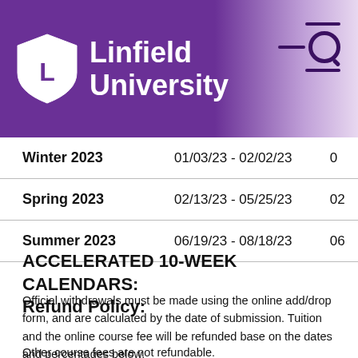Linfield University
| Term | Dates |  |
| --- | --- | --- |
| Winter 2023 | 01/03/23 - 02/02/23 | 0… |
| Spring 2023 | 02/13/23 - 05/25/23 | 02… |
| Summer 2023 | 06/19/23 - 08/18/23 | 06… |
ACCELERATED 10-WEEK CALENDARS:
Refund Policy:
Official withdrawals must be made using the online add/drop form, and are calculated by the date of submission. Tuition and the online course fee will be refunded base on the dates and percentages below.
Other course fees are not refundable.